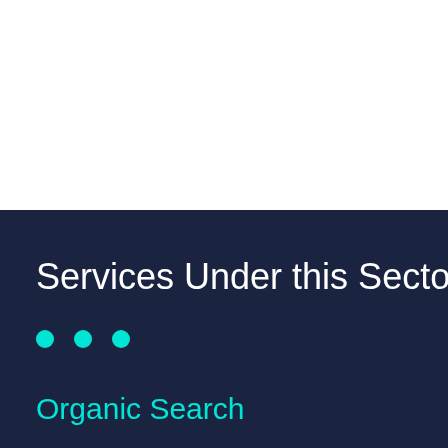Services Under this Sector
• • •
Organic Search